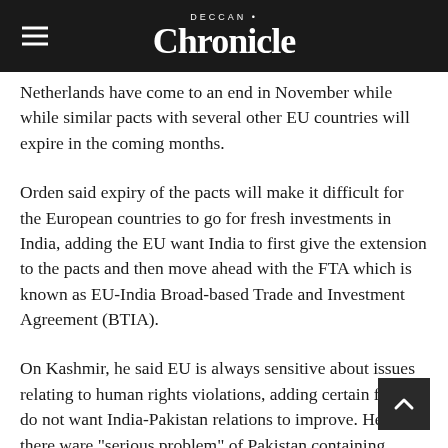≡ DECCAN Chronicle
Netherlands have come to an end in November while while similar pacts with several other EU countries will expire in the coming months.
Orden said expiry of the pacts will make it difficult for the European countries to go for fresh investments in India, adding the EU want India to first give the extension to the pacts and then move ahead with the FTA which is known as EU-India Broad-based Trade and Investment Agreement (BTIA).
On Kashmir, he said EU is always sensitive about issues relating to human rights violations, adding certain forces do not want India-Pakistan relations to improve. He said there ware "serious problem" of Pakistan containing terrorists and that Prime Minister Narendra Modi had showed his resolve improve ties with Islamabad.